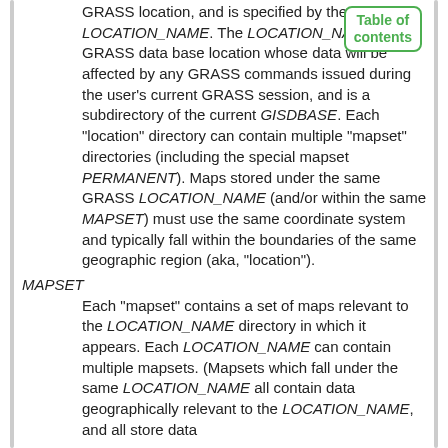GRASS location, and is specified by the variable LOCATION_NAME. The LOCATION_NAME is the GRASS data base location whose data will be affected by any GRASS commands issued during the user's current GRASS session, and is a subdirectory of the current GISDBASE. Each "location" directory can contain multiple "mapset" directories (including the special mapset PERMANENT). Maps stored under the same GRASS LOCATION_NAME (and/or within the same MAPSET) must use the same coordinate system and typically fall within the boundaries of the same geographic region (aka, "location").
MAPSET
Each "mapset" contains a set of maps relevant to the LOCATION_NAME directory in which it appears. Each LOCATION_NAME can contain multiple mapsets. (Mapsets which fall under the same LOCATION_NAME all contain data geographically relevant to the LOCATION_NAME, and all store data